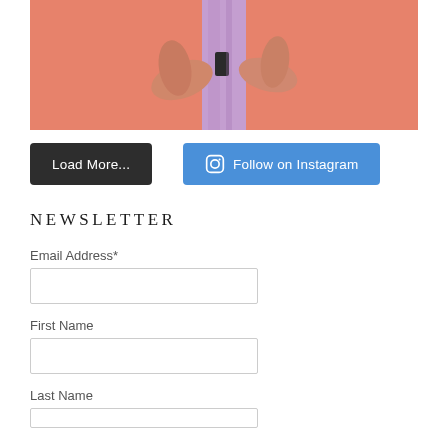[Figure (photo): Hands holding a purple/lavender bag against a coral/salmon orange background]
Load More...
Follow on Instagram
NEWSLETTER
Email Address*
First Name
Last Name